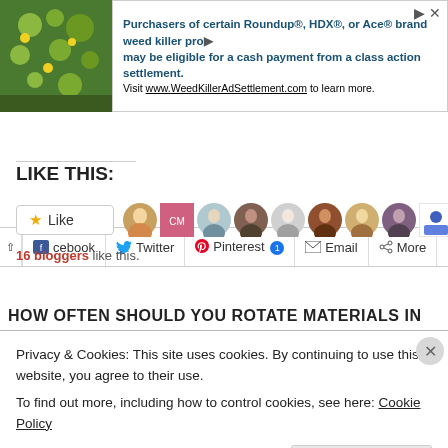[Figure (screenshot): Ad banner with plant image and text about Roundup/HDX/Ace weed killer class action settlement]
[Figure (screenshot): Social share bar with Facebook, Twitter, Pinterest (1), Email, More buttons]
LIKE THIS:
[Figure (screenshot): Like button with star and 11 blogger avatar thumbnails]
16 bloggers like this.
HOW OFTEN SHOULD YOU ROTATE MATERIALS IN
Privacy & Cookies: This site uses cookies. By continuing to use this website, you agree to their use.
To find out more, including how to control cookies, see here: Cookie Policy
Close and accept